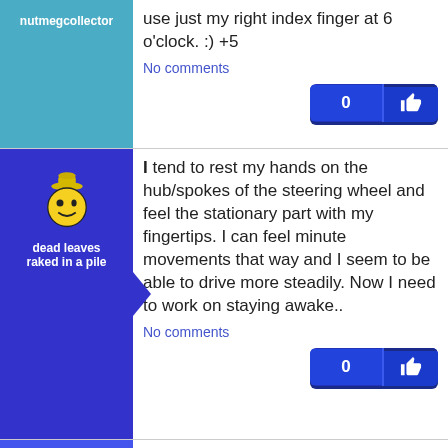nutmegcollector
use just my right index finger at 6 o'clock. :) +5
No comments
dead leaves raked in a pile
I tend to rest my hands on the hub/spokes of the steering wheel and feel the stationary part with my fingertips. I can feel minute movements that way and I seem to be able to drive more steadily. Now I need to work on staying awake..
No comments